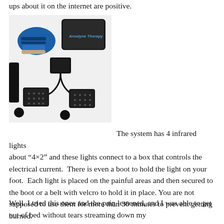ups about it on the internet are positive.
[Figure (photo): Infrared light therapy system components laid out on white background, including a blue boot, black carrying bag, control box with cables, and four black infrared light pads with velcro straps and circular attachments.]
The system has 4 infrared lights about "4×2" and these lights connect to a box that controls the electrical current. There is even a boot to hold the light on your foot. Each light is placed on the painful areas and then secured to the boot or a belt with velcro to hold it in place. You are not supposed to use them for more than 30 minutes to prevent getting burned.
Well, I tried this once and the pain lessened, and I was able to get out of bed without tears streaming down my